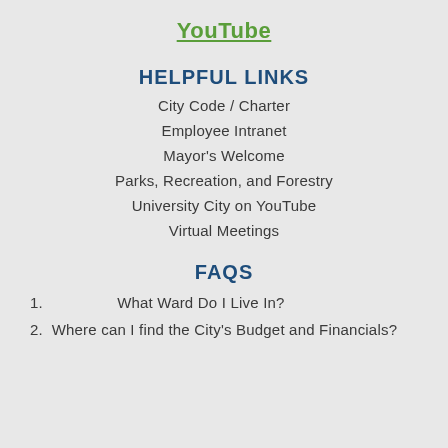YouTube
HELPFUL LINKS
City Code / Charter
Employee Intranet
Mayor's Welcome
Parks, Recreation, and Forestry
University City on YouTube
Virtual Meetings
FAQS
1.  What Ward Do I Live In?
2.  Where can I find the City's Budget and Financials?